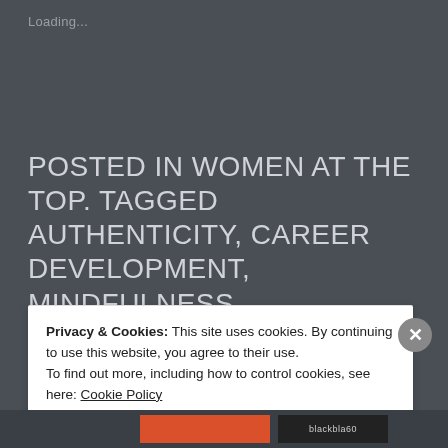Loading...
POSTED IN WOMEN AT THE TOP. TAGGED AUTHENTICITY, CAREER DEVELOPMENT, MINDFULNESS, PERSISTENCE, SELF-LEADERSHIP, UNCONVENTIONAL.
Privacy & Cookies: This site uses cookies. By continuing to use this website, you agree to their use.
To find out more, including how to control cookies, see here: Cookie Policy
Close and accept